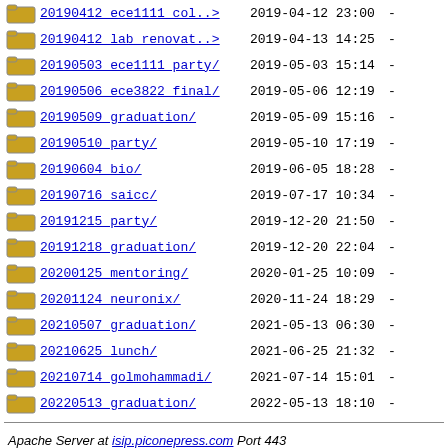20190412 ece1111 col..> 2019-04-12 23:00 -
20190412 lab renovat..> 2019-04-13 14:25 -
20190503 ece1111 party/ 2019-05-03 15:14 -
20190506 ece3822 final/ 2019-05-06 12:19 -
20190509 graduation/ 2019-05-09 15:16 -
20190510 party/ 2019-05-10 17:19 -
20190604 bio/ 2019-06-05 18:28 -
20190716 saicc/ 2019-07-17 10:34 -
20191215 party/ 2019-12-20 21:50 -
20191218 graduation/ 2019-12-20 22:04 -
20200125 mentoring/ 2020-01-25 10:09 -
20201124 neuronix/ 2020-11-24 18:29 -
20210507 graduation/ 2021-05-13 06:30 -
20210625 lunch/ 2021-06-25 21:32 -
20210714 golmohammadi/ 2021-07-14 15:01 -
20220513 graduation/ 2022-05-13 18:10 -
Apache Server at isip.piconepress.com Port 443